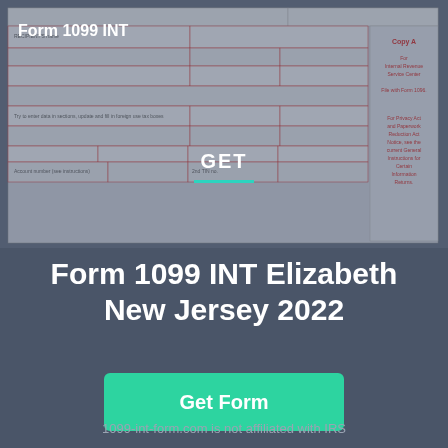[Figure (screenshot): Background image of IRS Form 1099-INT partially visible, showing form fields and 'Copy A' text on right side, with 'For Internal Revenue Service Center' text visible]
Form 1099 INT
GET
Form 1099 INT Elizabeth New Jersey 2022
Get Form
1099-int-form.com is not affiliated with IRS